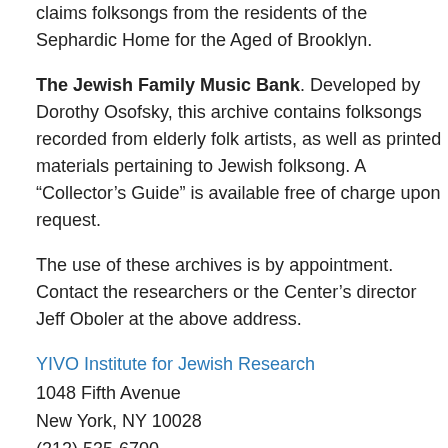claims folksongs from the residents of the Sephardic Home for the Aged of Brooklyn.
The Jewish Family Music Bank. Developed by Dorothy Osofsky, this archive contains folksongs recorded from elderly folk artists, as well as printed materials pertaining to Jewish folksong. A “Collector’s Guide” is available free of charge upon request.
The use of these archives is by appointment. Contact the researchers or the Center’s director Jeff Oboler at the above address.
YIVO Institute for Jewish Research
1048 Fifth Avenue
New York, NY 10028
(212) 535-6700
YIVO’s main collection includes the most material...